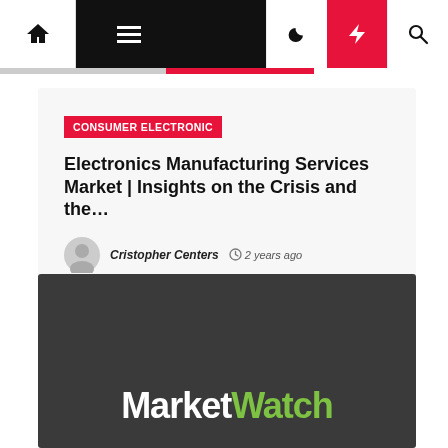Navigation bar with home, menu, moon, bolt, and search icons
CONSUMER ELECTRONIC
Electronics Manufacturing Services Market | Insights on the Crisis and the…
Cristopher Centers  2 years ago
[Figure (logo): MarketWatch logo in white and green on dark grey background]